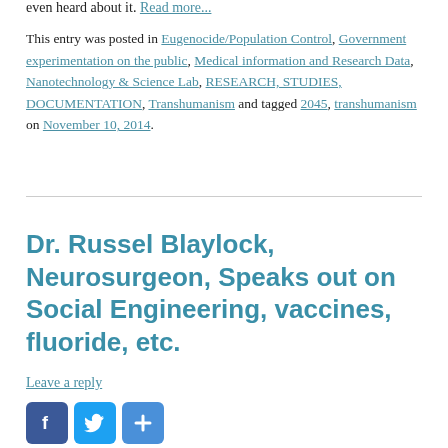even heard about it. Read more...
This entry was posted in Eugenocide/Population Control, Government experimentation on the public, Medical information and Research Data, Nanotechnology & Science Lab, RESEARCH, STUDIES, DOCUMENTATION, Transhumanism and tagged 2045, transhumanism on November 10, 2014.
Dr. Russel Blaylock, Neurosurgeon, Speaks out on Social Engineering, vaccines, fluoride, etc.
Leave a reply
[Figure (other): Social sharing buttons: Facebook, Twitter, and a generic share button]